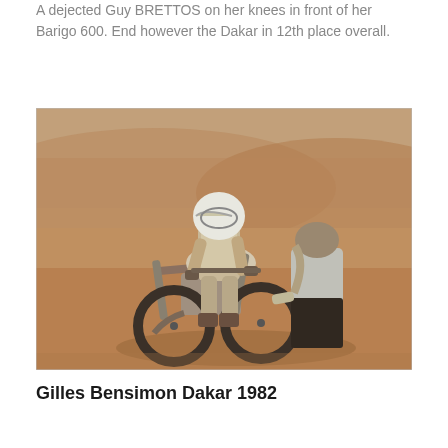A dejected Guy BRETTOS on her knees in front of her Barigo 600. End however the Dakar in 12th place overall.
[Figure (photo): A motorcycle rider in full racing gear and helmet seated on a dusty off-road motorcycle, with a local person in traditional desert clothing standing beside the bike, in an arid desert landscape with dry scrub brush in the background.]
Gilles Bensimon Dakar 1982